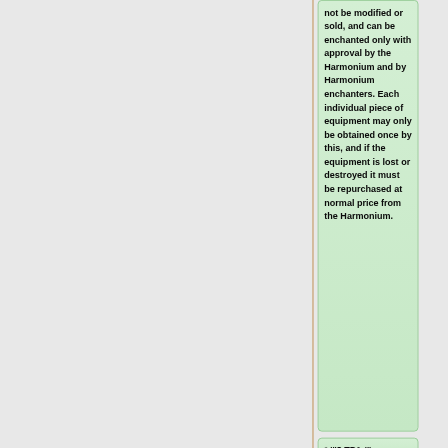not be modified or sold, and can be enchanted only with approval by the Harmonium and by Harmonium enchanters. Each individual piece of equipment may only be obtained once by this, and if the equipment is lost or destroyed it must be repurchased at normal price from the Harmonium.
* '3 TPA:'